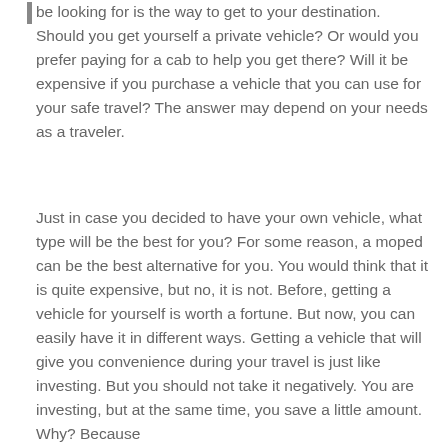be looking for is the way to get to your destination. Should you get yourself a private vehicle? Or would you prefer paying for a cab to help you get there? Will it be expensive if you purchase a vehicle that you can use for your safe travel? The answer may depend on your needs as a traveler.
Just in case you decided to have your own vehicle, what type will be the best for you? For some reason, a moped can be the best alternative for you. You would think that it is quite expensive, but no, it is not. Before, getting a vehicle for yourself is worth a fortune. But now, you can easily have it in different ways. Getting a vehicle that will give you convenience during your travel is just like investing. But you should not take it negatively. You are investing, but at the same time, you save a little amount. Why? Because